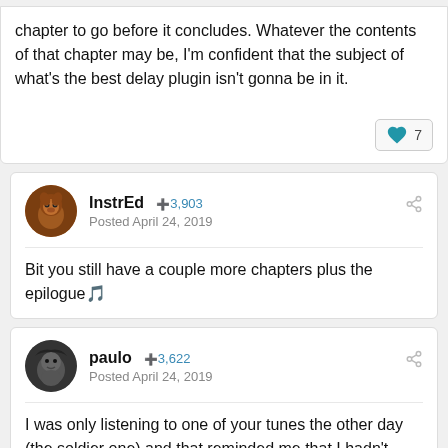chapter to go before it concludes. Whatever the contents of that chapter may be, I'm confident that the subject of what's the best delay plugin isn't gonna be in it.
♥ 7
InstrEd  +3,903
Posted April 24, 2019
Bit you still have a couple more chapters plus the epilogue🎵
paulo  +3,622
Posted April 24, 2019
I was only listening to one of your tunes the other day (the soldier one) and that reminded me that I hadn't seen much